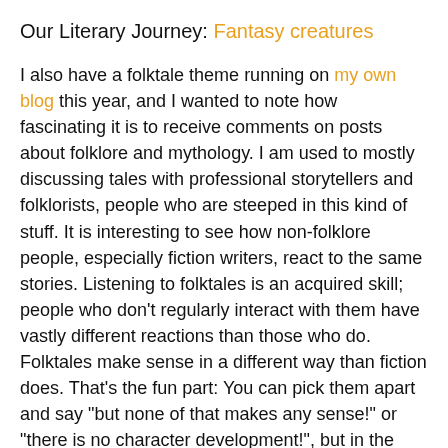Our Literary Journey: Fantasy creatures
I also have a folktale theme running on my own blog this year, and I wanted to note how fascinating it is to receive comments on posts about folklore and mythology. I am used to mostly discussing tales with professional storytellers and folklorists, people who are steeped in this kind of stuff. It is interesting to see how non-folklore people, especially fiction writers, react to the same stories. Listening to folktales is an acquired skill; people who don't regularly interact with them have vastly different reactions than those who do. Folktales make sense in a different way than fiction does. That's the fun part: You can pick them apart and say "but none of that makes any sense!" or "there is no character development!", but in the end, they still carry deep truths, and they are still entertaining. On the other hand, getting opinions on the tales from many people of different backgrounds often makes me re-think the stories in a whole different light. I love that experience.
I recommend adding folktales to everyone's regular literary diet!